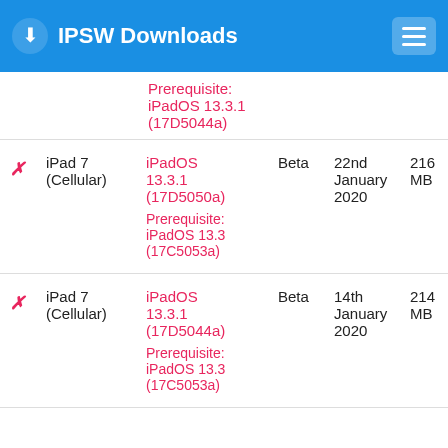IPSW Downloads
Prerequisite: iPadOS 13.3.1 (17D5044a)
|  | Device | Version | Type | Date | Size |
| --- | --- | --- | --- | --- | --- |
| ✗ | iPad 7 (Cellular) | iPadOS 13.3.1 (17D5050a)
Prerequisite: iPadOS 13.3 (17C5053a) | Beta | 22nd January 2020 | 216 MB |
| ✗ | iPad 7 (Cellular) | iPadOS 13.3.1 (17D5044a)
Prerequisite: iPadOS 13.3 (17C5053a) | Beta | 14th January 2020 | 214 MB |